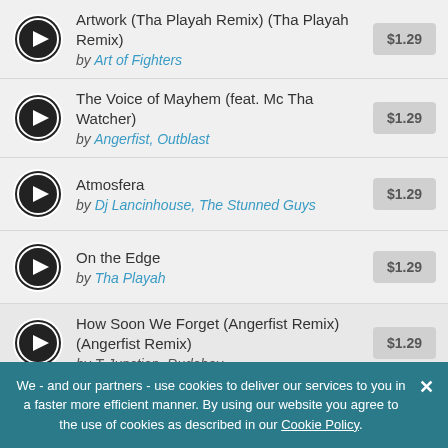Artwork (Tha Playah Remix) (Tha Playah Remix) by Art of Fighters $1.29
The Voice of Mayhem (feat. Mc Tha Watcher) by Angerfist, Outblast $1.29
Atmosfera by Dj Lancinhouse, The Stunned Guys $1.29
On the Edge by Tha Playah $1.29
How Soon We Forget (Angerfist Remix) (Angerfist Remix) by T Junction, Rudeboy $1.29
We - and our partners - use cookies to deliver our services to you in a faster more efficient manner. By using our website you agree to the use of cookies as described in our Cookie Policy.